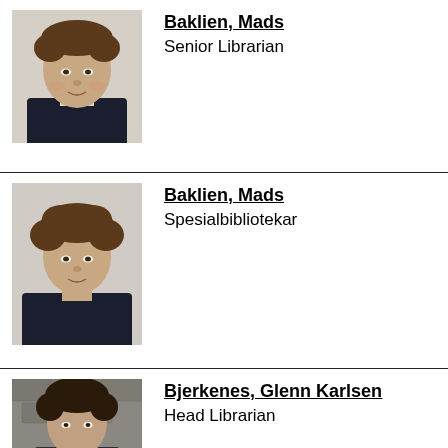[Figure (photo): Portrait photo of Mads Baklien, young man with curly brown hair, wearing dark navy blue sweater, light background]
Baklien, Mads
Senior Librarian
[Figure (photo): Portrait photo of Mads Baklien, young man with curly brown hair, wearing dark navy blue top, light background]
Baklien, Mads
Spesialbibliotekar
[Figure (photo): Portrait photo of Glenn Karlsen Bjerkenes, person with dark hair, stone/cobblestone background visible]
Bjerkenes, Glenn Karlsen
Head Librarian